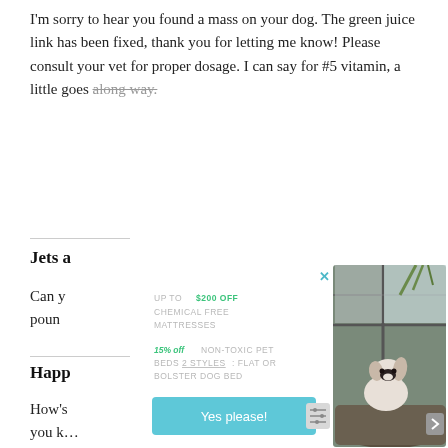I'm sorry to hear you found a mass on your dog. The green juice link has been fixed, thank you for letting me know! Please consult your vet for proper dosage. I can say for #5 vitamin, a little goes along way.
Jets a…
Can y… poun…
Happ…
How's… you k…... herbal products which give dosing guidelines on
[Figure (screenshot): Modal popup advertisement showing a dog on a pet bed with promotional offers: UP TO $200 OFF CHEMICAL FREE MATTRESSES and 15% off NON-TOXIC PET BEDS 2 STYLES: FLAT OR BOLSTER DOG BED, with a 'Yes please!' call-to-action button in teal.]